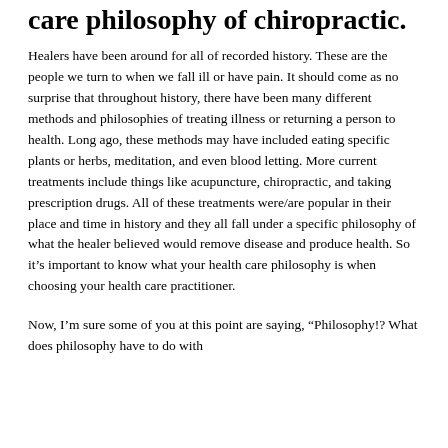care philosophy of chiropractic.
Healers have been around for all of recorded history.  These are the people we turn to when we fall ill or have pain.  It should come as no surprise that throughout history, there have been many different methods and philosophies of treating illness or returning a person to health.  Long ago, these methods may have included eating specific plants or herbs, meditation, and even blood letting.  More current treatments include things like acupuncture, chiropractic, and taking prescription drugs.  All of these treatments were/are popular in their place and time in history and they all fall under a specific philosophy of what the healer believed would remove disease and produce health.  So it's important to know what your health care philosophy is when choosing your health care practitioner.
Now, I'm sure some of you at this point are saying, “Philosophy!? What does philosophy have to do with